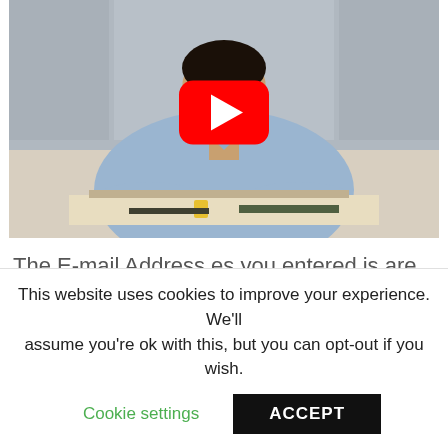[Figure (screenshot): YouTube video thumbnail showing a man in a light blue shirt working at a desk with papers and tools. A red YouTube play button overlay is centered on the image.]
The E-mail Address es you entered is are not in a valid format. Advanced Search Find a Library. Did
This website uses cookies to improve your experience. We'll assume you're ok with this, but you can opt-out if you wish.
Cookie settings    ACCEPT